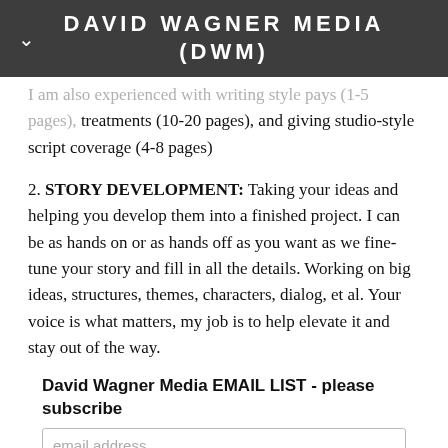DAVID WAGNER MEDIA (DWM)
I am also experienced with writing style pays (1-5 pages), treatments (10-20 pages), and giving studio-style script coverage (4-8 pages)
2. STORY DEVELOPMENT: Taking your ideas and helping you develop them into a finished project. I can be as hands on or as hands off as you want as we fine-tune your story and fill in all the details. Working on big ideas, structures, themes, characters, dialog, et al. Your voice is what matters, my job is to help elevate it and stay out of the way.
David Wagner Media EMAIL LIST - please subscribe
email address